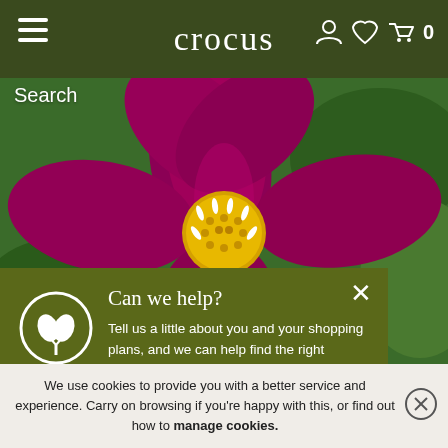crocus
Search
[Figure (photo): Close-up of a deep red/magenta dahlia flower with a yellow and white center, against a green background.]
Can we help?
Tell us a little about you and your shopping plans, and we can help find the right gardening essentials for you.
START QUIZ
We use cookies to provide you with a better service and experience. Carry on browsing if you're happy with this, or find out how to manage cookies.